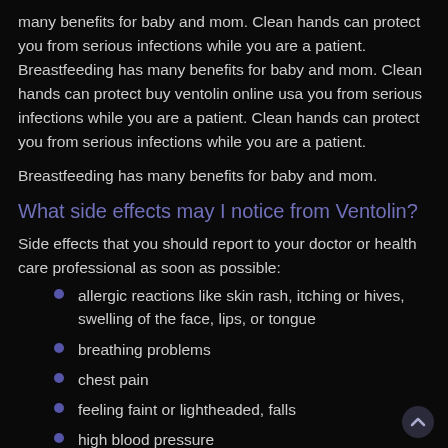many benefits for baby and mom. Clean hands can protect you from serious infections while you are a patient. Breastfeeding has many benefits for baby and mom. Clean hands can protect buy ventolin online usa you from serious infections while you are a patient. Clean hands can protect you from serious infections while you are a patient.
Breastfeeding has many benefits for baby and mom.
What side effects may I notice from Ventolin?
Side effects that you should report to your doctor or health care professional as soon as possible:
allergic reactions like skin rash, itching or hives, swelling of the face, lips, or tongue
breathing problems
chest pain
feeling faint or lightheaded, falls
high blood pressure
irregular heartbeat